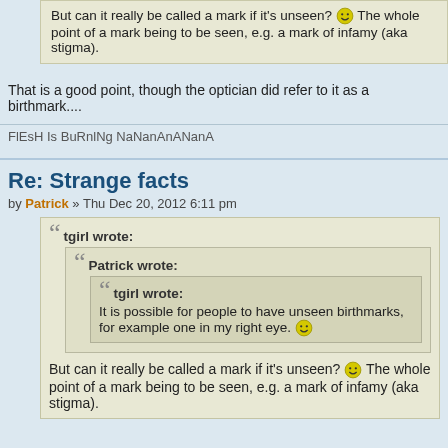But can it really be called a mark if it's unseen? 🙂 The whole point of a mark being to be seen, e.g. a mark of infamy (aka stigma).
That is a good point, though the optician did refer to it as a birthmark....
FlEsH Is BuRnlNg NaNanAnANanA
Re: Strange facts
by Patrick » Thu Dec 20, 2012 6:11 pm
tgirl wrote:
Patrick wrote:
tgirl wrote:
It is possible for people to have unseen birthmarks, for example one in my right eye. 🙂
But can it really be called a mark if it's unseen? 🙂 The whole point of a mark being to be seen, e.g. a mark of infamy (aka stigma).